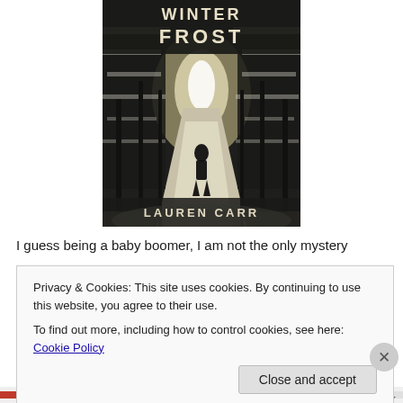[Figure (illustration): Book cover of 'Winter Frost' by Lauren Carr showing a silhouetted figure on a snow-covered road flanked by frost-covered trees, with the title 'WINTER FROST' at top and 'LAUREN CARR' at the bottom in block letters.]
I guess being a baby boomer, I am not the only mystery
Privacy & Cookies: This site uses cookies. By continuing to use this website, you agree to their use.
To find out more, including how to control cookies, see here: Cookie Policy
Close and accept